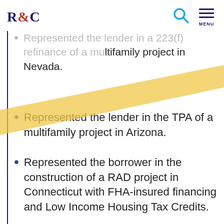R&C
connection with the development of an affordable housing project.
Represented the lender in a 223(f) refinance of a multifamily project in Nevada.
Represented the lender in the TPA of a multifamily project in Arizona.
Represented the borrower in the construction of a RAD project in Connecticut with FHA-insured financing and Low Income Housing Tax Credits.
Represented the borrower in the TPA of a multifamily project in